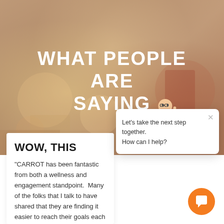[Figure (photo): Blurred warm-toned background photo of a living room scene with bokeh lighting]
WHAT PEOPLE ARE SAYING
WOW, THIS
"CARROT has been fantastic from both a wellness and engagement standpoint.  Many of the folks that I talk to have shared that they are finding it easier to reach their goals each day.  And, I'm seeing
[Figure (screenshot): Chat bot popup with avatar saying 'Let's take the next step together. How can I help?' with close button and orange chat bubble button]